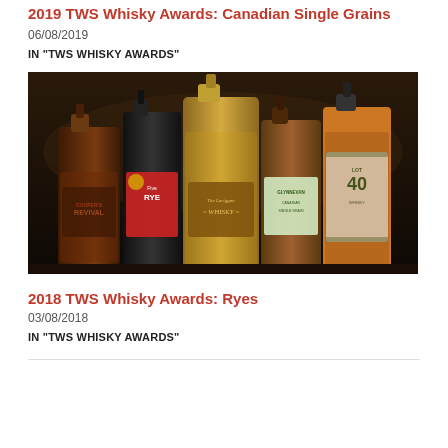2019 TWS Whisky Awards: Canadian Single Grains
06/08/2019
IN "TWS WHISKY AWARDS"
[Figure (photo): Group of Canadian whisky bottles arranged on a shelf including Cooper's Revival, Five Rye, Lot 40, Glynnevan, and other bottles in a dark bar setting.]
2018 TWS Whisky Awards: Ryes
03/08/2018
IN "TWS WHISKY AWARDS"